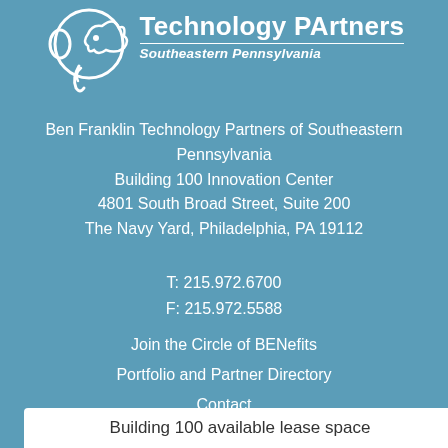[Figure (logo): Ben Franklin Technology Partners logo with elephant icon and text 'Technology PArtners' with subtitle 'Southeastern Pennsylvania']
Ben Franklin Technology Partners of Southeastern Pennsylvania
Building 100 Innovation Center
4801 South Broad Street, Suite 200
The Navy Yard, Philadelphia, PA 19112
T: 215.972.6700
F: 215.972.5588
Join the Circle of BENefits
Portfolio and Partner Directory
Contact
Building 100 available lease space